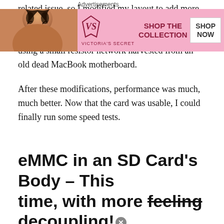related issue, so I modified my layout to add more capacitance. For good measure, I added 56 ohm termination resistance for the DAT0-4 data lines, using a small resistor network harvested from an old dead MacBook motherboard.
After these modifications, performance was much, much better. Now that the card was usable, I could finally run some speed tests.
eMMC in an SD Card's Body – This time, with more feeling decoupling!
Advertisements
[Figure (other): Victoria's Secret advertisement banner with a woman's photo on the left, VS logo in the center, 'SHOP THE COLLECTION' text, and a 'SHOP NOW' button on a pink background.]